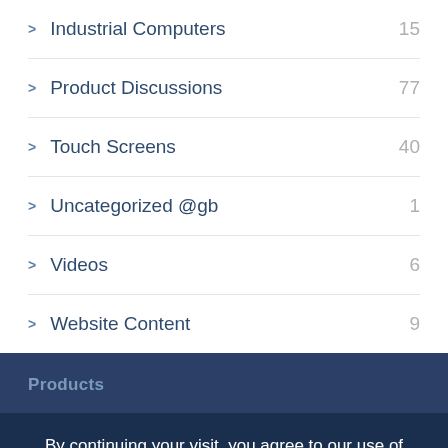Industrial Computers 15
Product Discussions 77
Touch Screens 40
Uncategorized @gb 1
Videos 6
Website Content 9
Products
By continuing your visit, you agree to our use of cookies to ensure you get the best user experience on this website. For more information, see our Privacy Policy.